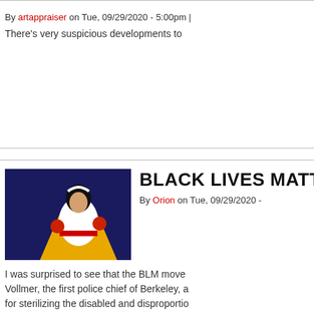By artappraiser on Tue, 09/29/2020 - 5:00pm |
There's very suspicious developments to
Read more
BLACK LIVES MATT
By Orion on Tue, 09/29/2020 -
I was surprised to see that the BLM move Vollmer, the first police chief of Berkeley, a for sterilizing the disabled and disproportio park named after him:
Read m
HOISTED BY OWN STUFFARD
By PeraclesPlease on Mon, 09/28/2020 - 2:04am
Germany going veggie
https://www.theguardian.com/world/2020/s
Read more